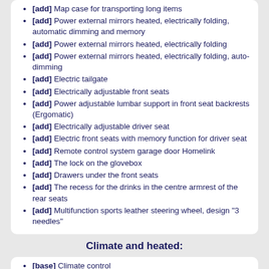[add] Map case for transporting long items (partial)
[add] Power external mirrors heated, electrically folding, automatic dimming and memory
[add] Power external mirrors heated, electrically folding
[add] Power external mirrors heated, electrically folding, auto-dimming
[add] Electric tailgate
[add] Electrically adjustable front seats
[add] Power adjustable lumbar support in front seat backrests (Ergomatic)
[add] Electrically adjustable driver seat
[add] Electric front seats with memory function for driver seat
[add] Remote control system garage door Homelink
[add] The lock on the glovebox
[add] Drawers under the front seats
[add] The recess for the drinks in the centre armrest of the rear seats
[add] Multifunction sports leather steering wheel, design "3 needles"
Climate and heated:
[base] Climate control
[base] Heated front seats
[add] Climate control with individual settings for three zones of the salon